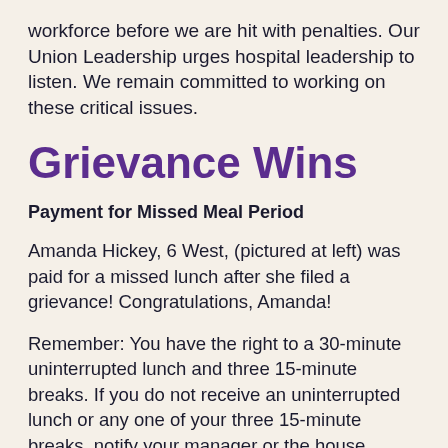workforce before we are hit with penalties. Our Union Leadership urges hospital leadership to listen. We remain committed to working on these critical issues.
Grievance Wins
Payment for Missed Meal Period
Amanda Hickey, 6 West, (pictured at left) was paid for a missed lunch after she filed a grievance! Congratulations, Amanda!
Remember: You have the right to a 30-minute uninterrupted lunch and three 15-minute breaks. If you do not receive an uninterrupted lunch or any one of your three 15-minute breaks, notify your manager or the house supervisor or designee, and fill out the